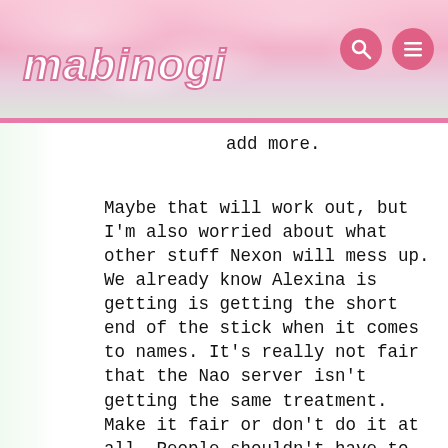mabinogi
add more.
Maybe that will work out, but I'm also worried about what other stuff Nexon will mess up. We already know Alexina is getting is getting the short end of the stick when it comes to names. It's really not fair that the Nao server isn't getting the same treatment. Make it fair or don't do it at all. People shouldn't have to lose their name, especially if they had it first or are more active than the person they lost it to. Nexon's really not making the right moves here. I also wonder how bad inflation is gonna be after this. I struggle to afford stuff as it is. It would be one thing if they would set a price cap on stuff, but they won't. I could see